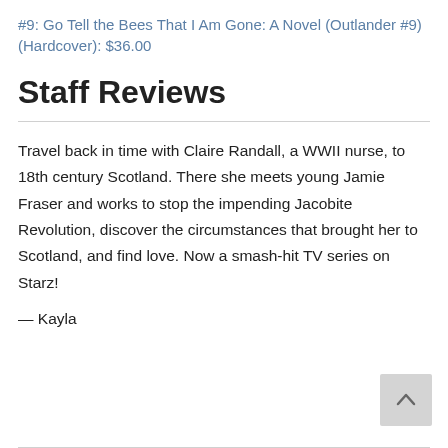#9: Go Tell the Bees That I Am Gone: A Novel (Outlander #9) (Hardcover): $36.00
Staff Reviews
Travel back in time with Claire Randall, a WWII nurse, to 18th century Scotland. There she meets young Jamie Fraser and works to stop the impending Jacobite Revolution, discover the circumstances that brought her to Scotland, and find love. Now a smash-hit TV series on Starz!
— Kayla